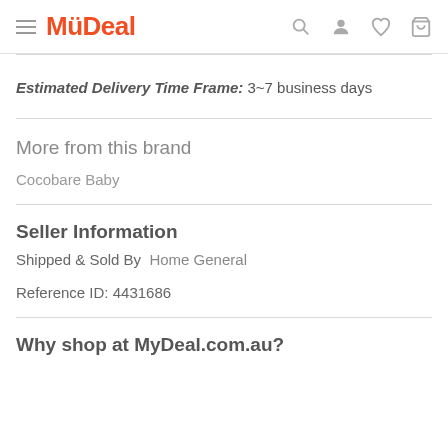MyDeal
Estimated Delivery Time Frame: 3~7 business days
More from this brand
Cocobare Baby
Seller Information
Shipped & Sold By  Home General
Reference ID: 4431686
Why shop at MyDeal.com.au?